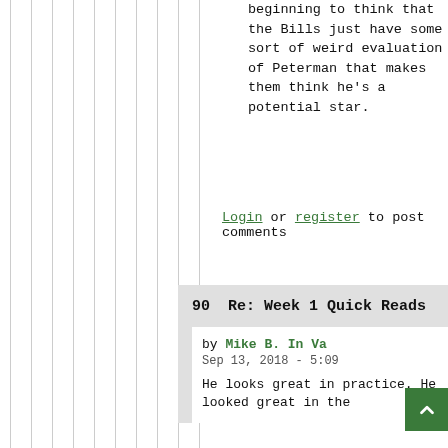beginning to think that the Bills just have some sort of weird evaluation of Peterman that makes them think he's a potential star.
Login or register to post comments
90  Re: Week 1 Quick Reads
by Mike B. In Va
Sep 13, 2018 - 5:09
He looks great in practice. He looked great in the